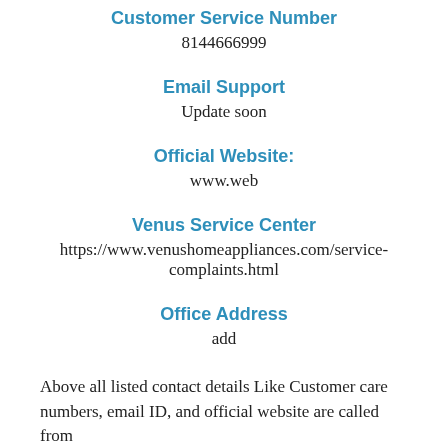Customer Service Number
8144666999
Email Support
Update soon
Official Website:
www.web
Venus Service Center
https://www.venushomeappliances.com/service-complaints.html
Office Address
add
Above all listed contact details Like Customer care numbers, email ID, and official website are called from